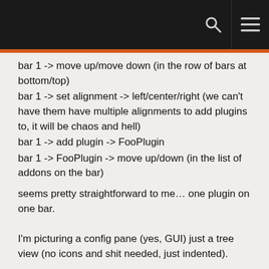bar 1 -> move up/move down (in the row of bars at bottom/top)
bar 1 -> set alignment -> left/center/right (we can't have them have multiple alignments to add plugins to, it will be chaos and hell)
bar 1 -> add plugin -> FooPlugin
bar 1 -> FooPlugin -> move up/down (in the list of addons on the bar)
seems pretty straightforward to me… one plugin on one bar.
I'm picturing a config pane (yes, GUI) just a tree view (no icons and shit needed, just indented).
Top
Bottom
    Bars
        Plugins
            TreeOfFeatureGroups (can be more than one